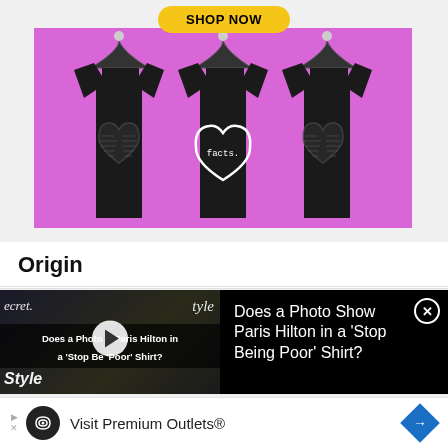[Figure (photo): Advertisement showing three black t-shirts with heart designs on hangers against a pink/magenta background, with a yellow 'SHOP NOW' button at top]
Origin
[Figure (screenshot): Video thumbnail showing Paris Hilton at an InStyle event with overlay text 'Does a Photo Show Paris Hilton in a Stop Being Poor Shirt?']
Does a Photo Show Paris Hilton in a 'Stop Being Poor' Shirt?
[Figure (infographic): Advertisement: Visit Premium Outlets® with logo and navigation arrow icon]